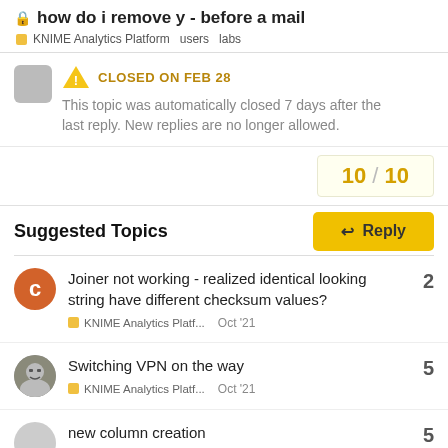how do i remove y - before a mail
KNIME Analytics Platform  users  labs
CLOSED ON FEB 28
This topic was automatically closed 7 days after the last reply. New replies are no longer allowed.
10 / 10
Reply
Suggested Topics
Joiner not working - realized identical looking string have different checksum values?
KNIME Analytics Platf...  Oct '21  2
Switching VPN on the way
KNIME Analytics Platf...  Oct '21  5
new column creation  5